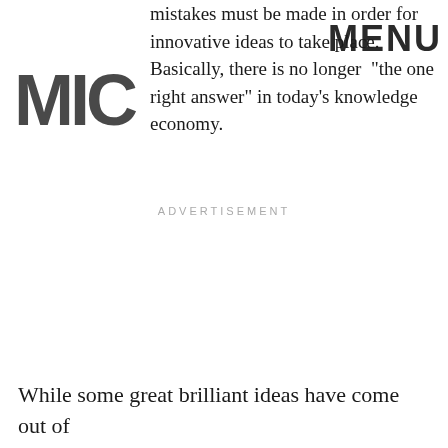MIC | MENU
mistakes must be made in order for innovative ideas to take place. Basically, there is no longer "the one right answer" in today's knowledge economy.
ADVERTISEMENT
While some great brilliant ideas have come out of